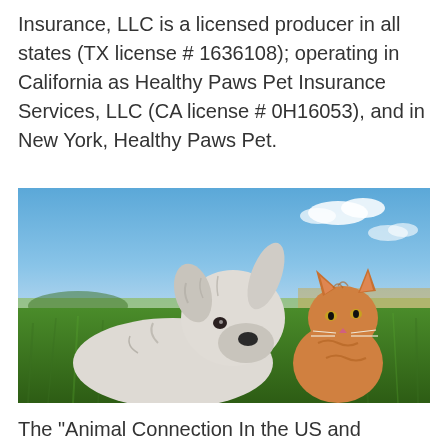Insurance, LLC is a licensed producer in all states (TX license # 1636108); operating in California as Healthy Paws Pet Insurance Services, LLC (CA license # 0H16053), and in New York, Healthy Paws Pet.
[Figure (photo): A white fluffy dog (terrier) lying in green grass outdoors next to an orange tabby kitten, with a blue sky and fields in the background.]
The "Animal Connection In the US and Australia, 63 of